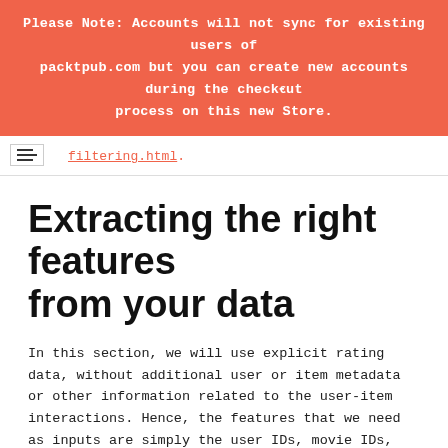Please Note: Accounts will not sync for existing users of packtpub.com but you can create new accounts during the checkout process on this new Store.
filtering.html.
Extracting the right features from your data
In this section, we will use explicit rating data, without additional user or item metadata or other information related to the user-item interactions. Hence, the features that we need as inputs are simply the user IDs, movie IDs, and the ratings assigned to each user and movie pair.
Extracting features from the MovieLens 100k dataset